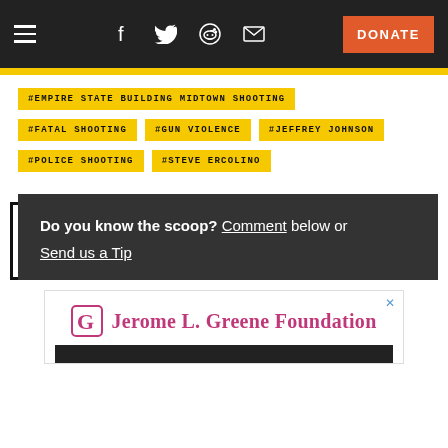Navigation bar with hamburger menu, social icons (Facebook, Twitter, Reddit, Email), and DONATE button
#EMPIRE STATE BUILDING MIDTOWN SHOOTING
#FATAL SHOOTING
#GUN VIOLENCE
#JEFFREY JOHNSON
#POLICE SHOOTING
#STEVE ERCOLINO
Do you know the scoop? Comment below or Send us a Tip
[Figure (other): Jerome L. Greene Foundation advertisement banner with pink/magenta logo icon and text]
[Figure (other): Dark image bar at bottom of ad]